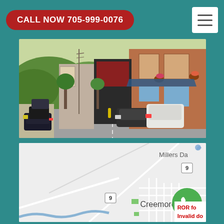[Figure (screenshot): Website header bar with teal background containing a red pill-shaped button reading 'CALL NOW 705-999-0076' on the left and a white hamburger menu icon button on the right]
[Figure (photo): Street-level photo of a small town main street with shops, parked cars, utility poles, trees, and brick buildings]
[Figure (map): Google Maps screenshot showing Creemore, Ontario with road markings, highway 9 markers, Millers Da label partially visible, and a river/creek at the bottom]
CALL NOW 705-999-0076